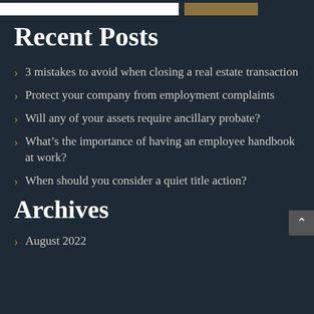Recent Posts
3 mistakes to avoid when closing a real estate transaction
Protect your company from employment complaints
Will any of your assets require ancillary probate?
What’s the importance of having an employee handbook at work?
When should you consider a quiet title action?
Archives
August 2022